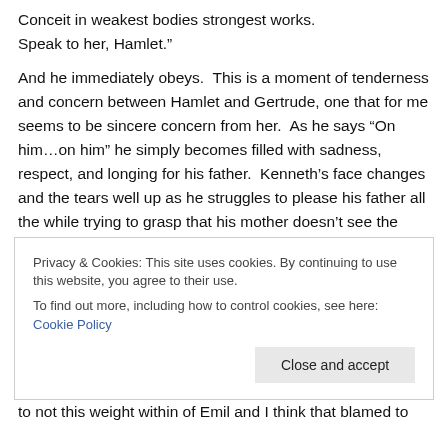Conceit in weakest bodies strongest works. Speak to her, Hamlet."
And he immediately obeys.  This is a moment of tenderness and concern between Hamlet and Gertrude, one that for me seems to be sincere concern from her.  As he says “On him…on him” he simply becomes filled with sadness, respect, and longing for his father.  Kenneth’s face changes and the tears well up as he struggles to please his father all the while trying to grasp that his mother doesn’t see the ghost.  The levels of emotion that course through his being in those two minutes of film are
Privacy & Cookies: This site uses cookies. By continuing to use this website, you agree to their use.
To find out more, including how to control cookies, see here: Cookie Policy
to not this weight within of Emil and I think that blamed to